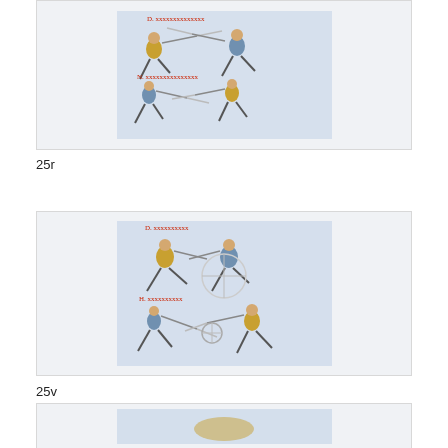[Figure (illustration): Medieval fencing manuscript illustration showing two pairs of swordsmen fighting with longswords, figures in yellow/gold garments on light blue background, with red text annotations]
25r
[Figure (illustration): Medieval fencing manuscript illustration showing two pairs of swordsmen in combat with longswords, figures in yellow/gold garments on light blue background, with red text annotations]
25v
[Figure (illustration): Medieval fencing manuscript illustration, partially visible at bottom of page]